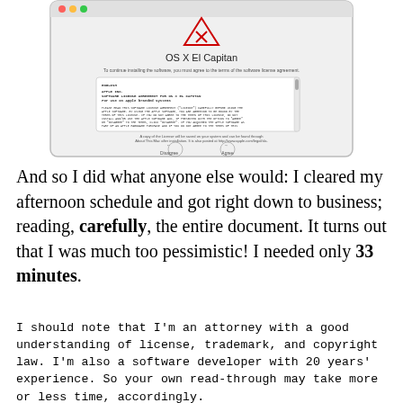[Figure (screenshot): A macOS OS X El Capitan software license agreement installer screen showing a dialog with the OS X logo (triangle with X), title 'OS X El Capitan', a license text area, and Disagree/Agree buttons.]
And so I did what anyone else would: I cleared my afternoon schedule and got right down to business; reading, carefully, the entire document. It turns out that I was much too pessimistic! I needed only 33 minutes.
I should note that I'm an attorney with a good understanding of license, trademark, and copyright law. I'm also a software developer with 20 years' experience. So your own read-through may take more or less time, accordingly.